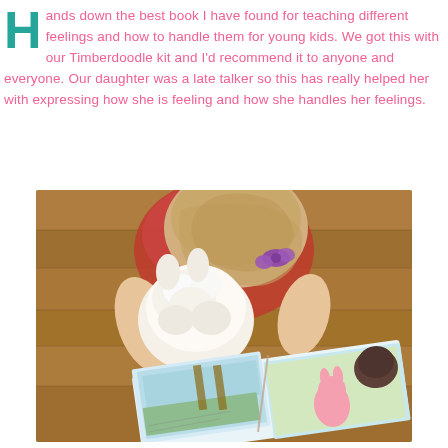Hands down the best book I have found for teaching different feelings and how to handle them for young kids. We got this with our Timberdoodle kit and I'd recommend it to anyone and everyone. Our daughter was a late talker so this has really helped her with expressing how she is feeling and how she handles her feelings.
[Figure (photo): A young girl with blonde hair and a purple hair clip, viewed from above, holding a white stuffed animal and reading an illustrated children's book open on a wooden floor.]